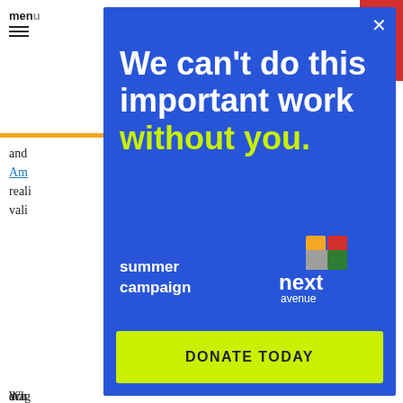menu
and he
Am
reali
vali
Wh
acu
"Be
efe
Mor
Am
CEO
chi
diag
[Figure (screenshot): Modal advertisement overlay on a webpage. Blue background modal with text: 'We can't do this important work without you.' in white and yellow-green. Shows 'summer campaign' text, Next Avenue logo with colored squares, and a yellow-green 'DONATE TODAY' button.]
he
ly?
he
l
p